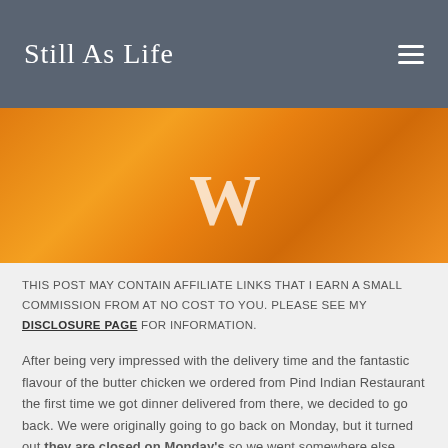Still As Life
[Figure (photo): Close-up photo of orange-colored Indian food (butter chicken or similar dish) with white text overlay showing partial letters 'W']
THIS POST MAY CONTAIN AFFILIATE LINKS THAT I EARN A SMALL COMMISSION FROM AT NO COST TO YOU. PLEASE SEE MY DISCLOSURE PAGE FOR INFORMATION.
After being very impressed with the delivery time and the fantastic flavour of the butter chicken we ordered from Pind Indian Restaurant the first time we got dinner delivered from there, we decided to go back. We were originally going to go back on Monday, but it turned out they are closed on Monday's so we went somewhere else instead and left going here again until later.
This time we got the mild butter chicken again and decided to give the mild chicken tikka masala a try along with a side of onion pakoras.